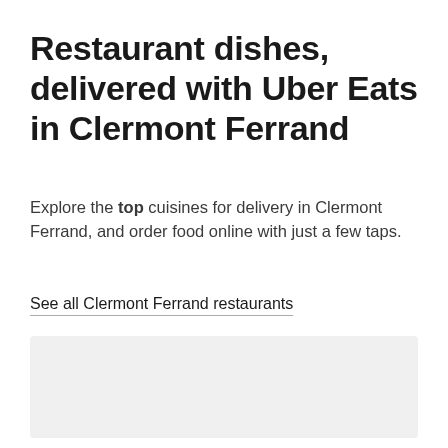Restaurant dishes, delivered with Uber Eats in Clermont Ferrand
Explore the top cuisines for delivery in Clermont Ferrand, and order food online with just a few taps.
See all Clermont Ferrand restaurants
[Figure (other): Light gray rectangular placeholder image area]